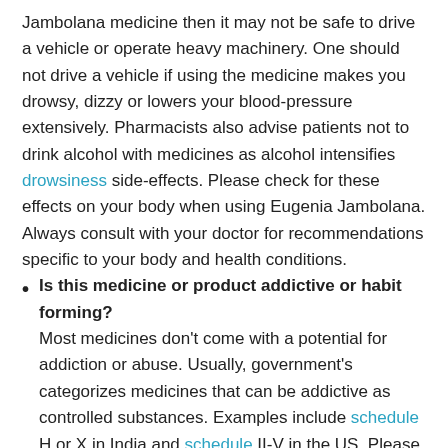Jambolana medicine then it may not be safe to drive a vehicle or operate heavy machinery. One should not drive a vehicle if using the medicine makes you drowsy, dizzy or lowers your blood-pressure extensively. Pharmacists also advise patients not to drink alcohol with medicines as alcohol intensifies drowsiness side-effects. Please check for these effects on your body when using Eugenia Jambolana. Always consult with your doctor for recommendations specific to your body and health conditions.
Is this medicine or product addictive or habit forming? Most medicines don't come with a potential for addiction or abuse. Usually, government's categorizes medicines that can be addictive as controlled substances. Examples include schedule H or X in India and schedule II-V in the US. Please consult the product package to make sure that the medicine does not belong to such special categorizations of medicines. Lastly, do not self-medicate and increase your body's